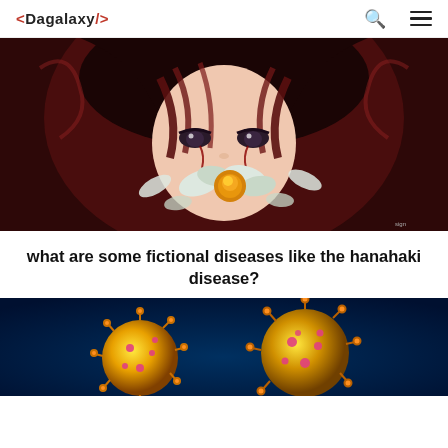<DAGALAXY/>
[Figure (illustration): Anime-style illustration of a young person with dark hair, eyes partially closed, with flowers (white and yellow) coming from their mouth, blood on cheeks, dark dramatic background — depicting hanahaki disease concept art]
what are some fictional diseases like the hanahaki disease?
[Figure (photo): Close-up microscopic/artistic rendering of virus particles — spherical yellow and pink structures with spiky surfaces on a dark blue background, representing viral particles]